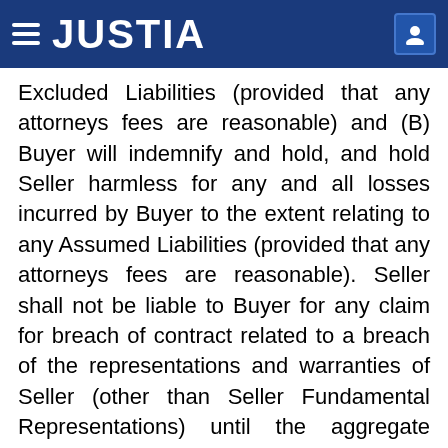JUSTIA
Excluded Liabilities (provided that any attorneys fees are reasonable) and (B) Buyer will indemnify and hold, and hold Seller harmless for any and all losses incurred by Buyer to the extent relating to any Assumed Liabilities (provided that any attorneys fees are reasonable). Seller shall not be liable to Buyer for any claim for breach of contract related to a breach of the representations and warranties of Seller (other than Seller Fundamental Representations) until the aggregate amount of losses in respect of such claims exceeds $21,000, in which event Seller will only be responsible for losses in excess of such amount. The aggregate amount of all losses in respect of such claims for which Seller shall be liable will not exceed $160,000. Notwithstanding anything to the contrary set forth in this Agreement, in no event shall Seller, CMSC, Strong or any of their respective Affiliates be liable for special, punitive, exemplary, incidental